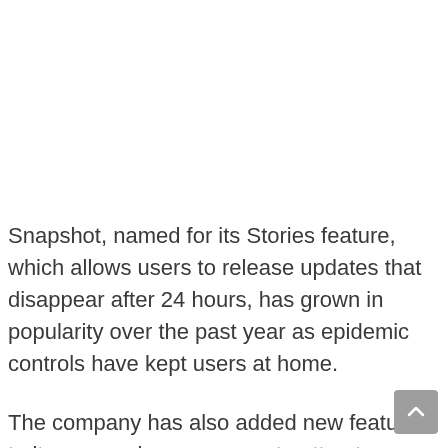Snapshot, named for its Stories feature, which allows users to release updates that disappear after 24 hours, has grown in popularity over the past year as epidemic controls have kept users at home.
The company has also added new features to its messaging processor to attract more users.
Facebook says the new feature is a move to give users more